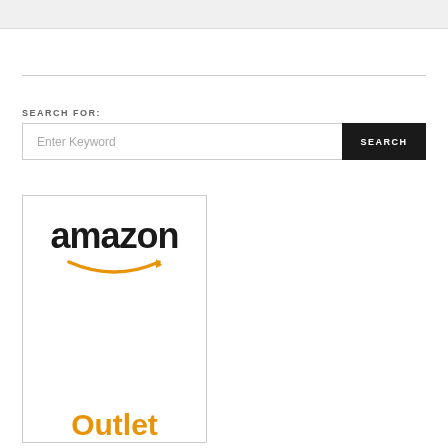[Figure (logo): Amazon Outlet logo card with amazon wordmark in black and Outlet in orange]
SEARCH FOR:
Enter Keyword
SEARCH